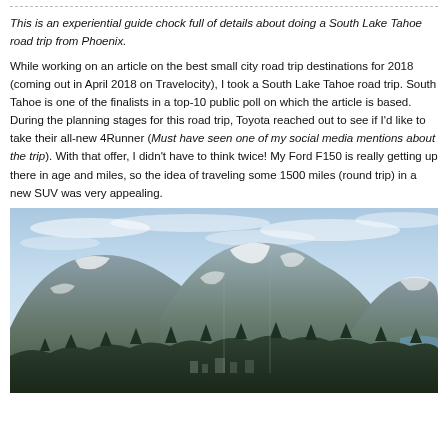This is an experiential guide chock full of details about doing a South Lake Tahoe road trip from Phoenix.
While working on an article on the best small city road trip destinations for 2018 (coming out in April 2018 on Travelocity), I took a South Lake Tahoe road trip. South Tahoe is one of the finalists in a top-10 public poll on which the article is based. During the planning stages for this road trip, Toyota reached out to see if I'd like to take their all-new 4Runner (Must have seen one of my social media mentions about the trip). With that offer, I didn't have to think twice! My Ford F150 is really getting up there in age and miles, so the idea of traveling some 1500 miles (round trip) in a new SUV was very appealing.
[Figure (photo): Panoramic landscape photo of South Lake Tahoe showing snow-dusted mountains with evergreen forests and a small town/harbor area at the base, under a partly cloudy sky.]